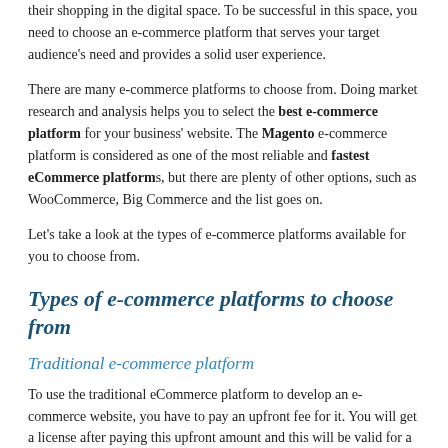their shopping in the digital space. To be successful in this space, you need to choose an e-commerce platform that serves your target audience's need and provides a solid user experience.
There are many e-commerce platforms to choose from. Doing market research and analysis helps you to select the best e-commerce platform for your business' website. The Magento e-commerce platform is considered as one of the most reliable and fastest eCommerce platforms, but there are plenty of other options, such as WooCommerce, Big Commerce and the list goes on.
Let's take a look at the types of e-commerce platforms available for you to choose from.
Types of e-commerce platforms to choose from
Traditional e-commerce platform
To use the traditional eCommerce platform to develop an e-commerce website, you have to pay an upfront fee for it. You will get a license after paying this upfront amount and this will be valid for a preset period, then you can renew if you choose to keep going with this option. This platform can be customized by your team (or an outsourced group of pros) to meet your needs and the needs of your customers.